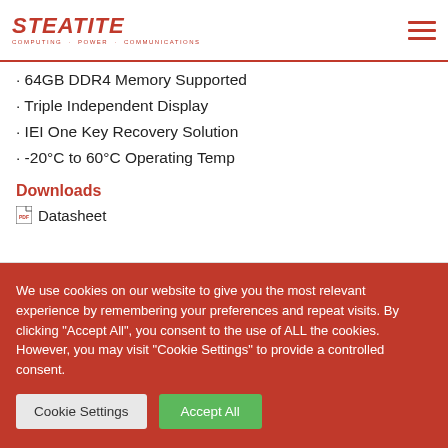STEATITE COMPUTING · POWER · COMMUNICATIONS
· 64GB DDR4 Memory Supported
· Triple Independent Display
· IEI One Key Recovery Solution
· -20°C to 60°C Operating Temp
Downloads
Datasheet
We use cookies on our website to give you the most relevant experience by remembering your preferences and repeat visits. By clicking "Accept All", you consent to the use of ALL the cookies. However, you may visit "Cookie Settings" to provide a controlled consent.
Cookie Settings | Accept All